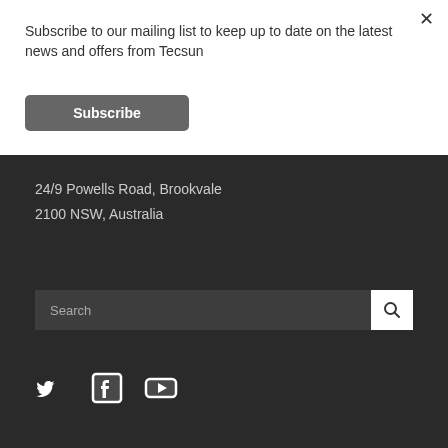Subscribe to our mailing list to keep up to date on the latest news and offers from Tecsun
Subscribe
24/9 Powells Road, Brookvale
2100 NSW, Australia
Search
[Figure (infographic): Twitter, Facebook, and YouTube social media icons in white on dark background]